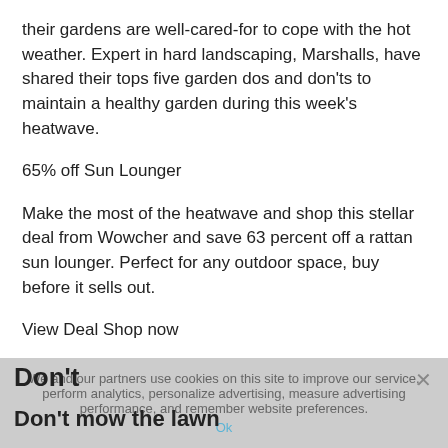their gardens are well-cared-for to cope with the hot weather. Expert in hard landscaping, Marshalls, have shared their tops five garden dos and don'ts to maintain a healthy garden during this week's heatwave.
65% off Sun Lounger
Make the most of the heatwave and shop this stellar deal from Wowcher and save 63 percent off a rattan sun lounger. Perfect for any outdoor space, buy before it sells out.
View Deal Shop now
We and our partners use cookies on this site to improve our service, perform analytics, personalize advertising, measure advertising performance, and remember website preferences.
Don't
Don't mow the lawn